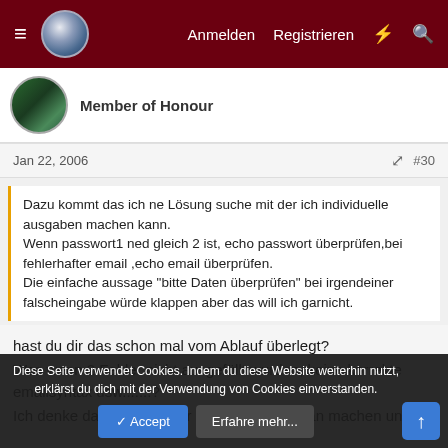Anmelden  Registrieren
Member of Honour
Jan 22, 2006  #30
Dazu kommt das ich ne Lösung suche mit der ich individuelle ausgaben machen kann.
Wenn passwort1 ned gleich 2 ist, echo passwort überprüfen,bei fehlerhafter email ,echo email überprüfen.
Die einfache aussage "bitte Daten überprüfen" bei irgendeiner falscheingabe würde klappen aber das will ich garnicht.
hast du dir das schon mal vom Ablauf überlegt?
Was wenn 2 Felder nicht ausgefüllt wurden, keine korrekte emailsyntax usw.......?
Ich denke da solltest du dir erst mal einen Plan machen und
Diese Seite verwendet Cookies. Indem du diese Website weiterhin nutzt, erklärst du dich mit der Verwendung von Cookies einverstanden.
✓ Accept   Erfahre mehr...